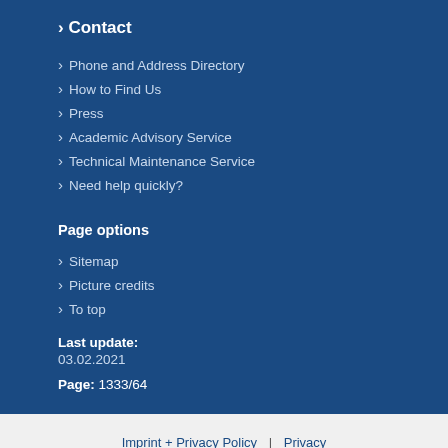› Contact
› Phone and Address Directory
› How to Find Us
› Press
› Academic Advisory Service
› Technical Maintenance Service
› Need help quickly?
Page options
› Sitemap
› Picture credits
› To top
Last update: 03.02.2021
Page: 1333/64
Imprint + Privacy Policy | Privacy | Disclaimer | Barrierefreiheit